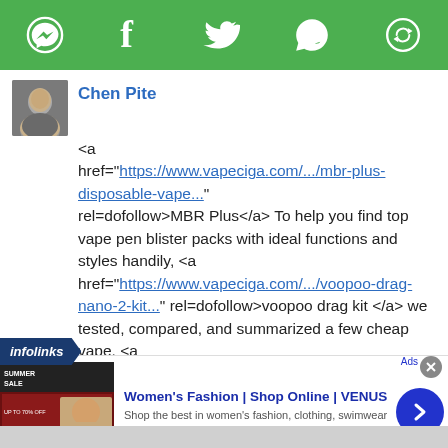[Figure (other): Green social sharing toolbar with icons: Messenger, Facebook, Twitter, WhatsApp, and a share/refresh icon]
Chen Pite
<a href="https://www.vapeciga.com/.../mbr-plus-disposable-vape..." rel=dofollow>MBR Plus</a> To help you find top vape pen blister packs with ideal functions and styles handily, <a href="https://www.vapeciga.com/.../voopoo-drag-nano-2-kit..." rel=dofollow>voopoo drag kit </a> we tested, compared, and summarized a few cheap vape. <a href="https://www.vapeciga.com/.../voopoo-drag-s-pro-kit-5-5ml..." rel=dofollow>voopoo mod </a>
Like · Reply · Mark as spam · 33w
[Figure (other): Infolinks badge/logo in dark blue]
[Figure (screenshot): Advertisement for Women's Fashion | Shop Online | VENUS - Shop the best in women's fashion, clothing, swimwear. venus.com]